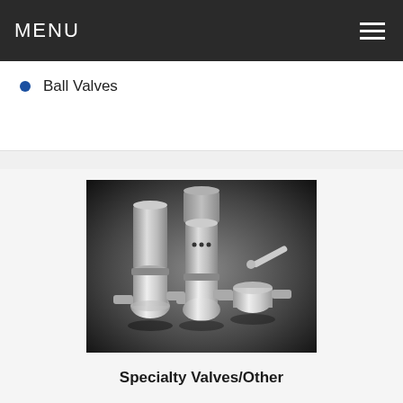MENU
Ball Valves
[Figure (photo): Three stainless steel ball valves: two with cylindrical pneumatic/electric actuators on top (left and center) and one with a manual lever handle (right), displayed against a dark gradient background.]
Specialty Valves/Other